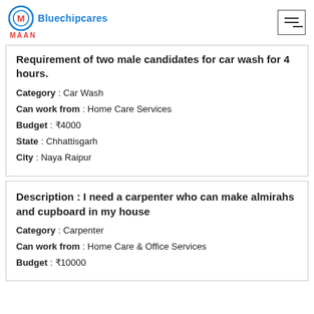Bluechipcares MAAN
Requirement of two male candidates for car wash for 4 hours.
Category : Car Wash
Can work from : Home Care Services
Budget : ₹4000
State : Chhattisgarh
City : Naya Raipur
Description : I need a carpenter who can make almirahs and cupboard in my house
Category : Carpenter
Can work from : Home Care & Office Services
Budget : ₹10000